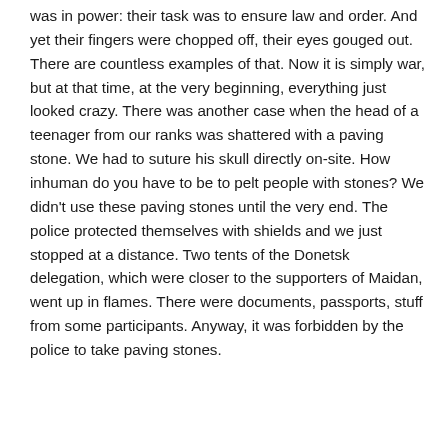was in power: their task was to ensure law and order. And yet their fingers were chopped off, their eyes gouged out. There are countless examples of that. Now it is simply war, but at that time, at the very beginning, everything just looked crazy. There was another case when the head of a teenager from our ranks was shattered with a paving stone. We had to suture his skull directly on-site. How inhuman do you have to be to pelt people with stones? We didn't use these paving stones until the very end. The police protected themselves with shields and we just stopped at a distance. Two tents of the Donetsk delegation, which were closer to the supporters of Maidan, went up in flames. There were documents, passports, stuff from some participants. Anyway, it was forbidden by the police to take paving stones.